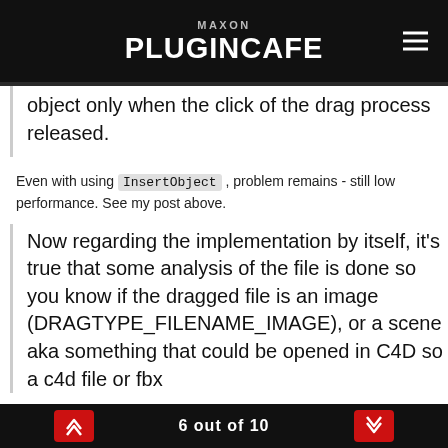MAXON PLUGINCAFE
object only when the click of the drag process released.
Even with using InsertObject , problem remains - still low performance. See my post above.
Now regarding the implementation by itself, it's true that some analysis of the file is done so you know if the dragged file is an image (DRAGTYPE_FILENAME_IMAGE), or a scene aka something that could be opened in C4D so a c4d file or fbx
6 out of 10